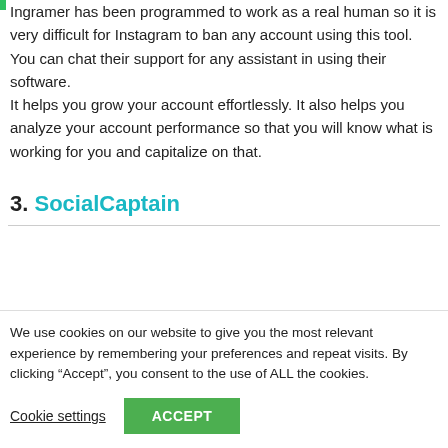Ingramer has been programmed to work as a real human so it is very difficult for Instagram to ban any account using this tool. You can chat their support for any assistant in using their software.
It helps you grow your account effortlessly. It also helps you analyze your account performance so that you will know what is working for you and capitalize on that.
3. SocialCaptain
We use cookies on our website to give you the most relevant experience by remembering your preferences and repeat visits. By clicking “Accept”, you consent to the use of ALL the cookies.
Cookie settings | ACCEPT